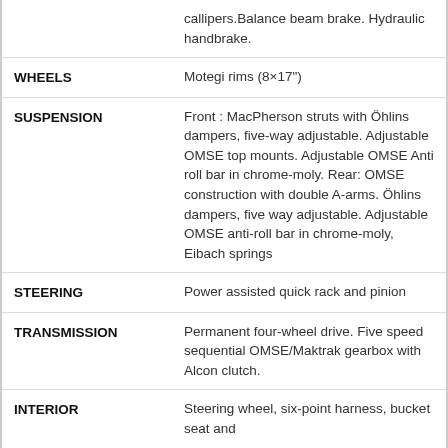| Feature | Description |
| --- | --- |
|  | callipers.Balance beam brake. Hydraulic handbrake. |
| WHEELS | Motegi rims (8×17") |
| SUSPENSION | Front : MacPherson struts with Öhlins dampers, five-way adjustable. Adjustable OMSE top mounts. Adjustable OMSE Anti roll bar in chrome-moly. Rear: OMSE construction with double A-arms. Öhlins dampers, five way adjustable. Adjustable OMSE anti-roll bar in chrome-moly, Eibach springs |
| STEERING | Power assisted quick rack and pinion |
| TRANSMISSION | Permanent four-wheel drive. Five speed sequential OMSE/Maktrak gearbox with Alcon clutch. |
| INTERIOR | Steering wheel, six-point harness, bucket seat and |